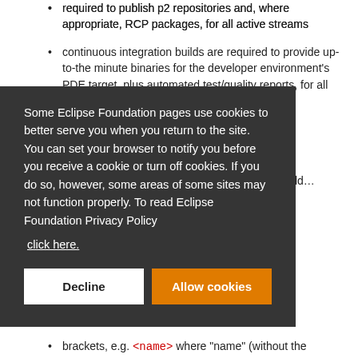required to publish p2 repositories and, where appropriate, RCP packages, for all active streams
continuous integration builds are required to provide up-to-the minute binaries for the developer environment's PDE target, plus automated test/quality reports, for all active streams
Therefore, a degree of parameterization of the build…
Some Eclipse Foundation pages use cookies to better serve you when you return to the site. You can set your browser to notify you before you receive a cookie or turn off cookies. If you do so, however, some areas of some sites may not function properly. To read Eclipse Foundation Privacy Policy click here.
Decline | Allow cookies
brackets, e.g. <name> where "name" (without the